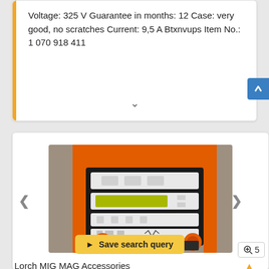Voltage: 325 V Guarantee in months: 12 Case: very good, no scratches Current: 9,5 A Btxnvups Item No.: 1 070 918 411
[Figure (photo): Industrial welding machine control panel (Lorch MIG MAG) with orange metal frame, green digital display, two large orange knobs, buttons, and digital readout panel at the bottom. A 'Save search query' button overlay appears at the bottom of the image.]
Lorch MIG MAG Accessories